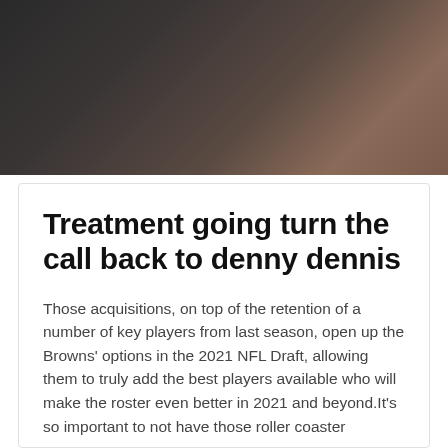[Figure (photo): Dark background photo, appears to show a dimly lit scene with dark and warm tones]
Treatment going turn the call back to denny dennis
Those acquisitions, on top of the retention of a number of key players from last season, open up the Browns' options in the 2021 NFL Draft, allowing them to truly add the best players available who will make the roster even better in 2021 and beyond.It's so important to not have those roller coaster